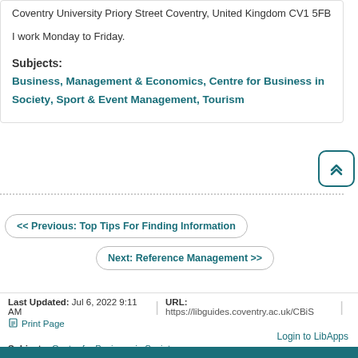Coventry University Priory Street Coventry, United Kingdom CV1 5FB
I work Monday to Friday.
Subjects:
Business, Management & Economics, Centre for Business in Society, Sport & Event Management, Tourism
[Figure (other): Scroll-to-top button with double chevron up icon]
<< Previous: Top Tips For Finding Information
Next: Reference Management >>
Last Updated: Jul 6, 2022 9:11 AM | URL: https://libguides.coventry.ac.uk/CBiS
Print Page
Login to LibApps
Subjects: Centre for Business in Society